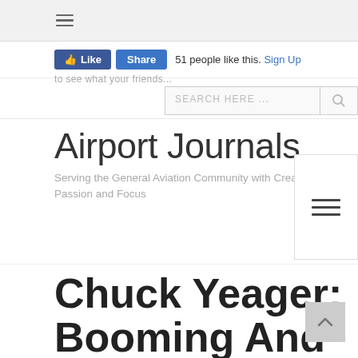Airport Journals website header with hamburger menu icon
51 people like this. Sign Up to see what your friends...
SEARCH HERE ...
Airport Journals
Serving the General Aviation Community with Creativity, Passion and Focus
Chuck Yeager: Booming And Zooming (Part 1)